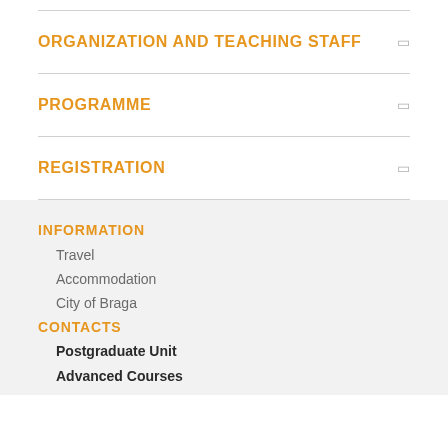ORGANIZATION AND TEACHING STAFF
PROGRAMME
REGISTRATION
INFORMATION
Travel
Accommodation
City of Braga
CONTACTS
Postgraduate Unit
Advanced Courses